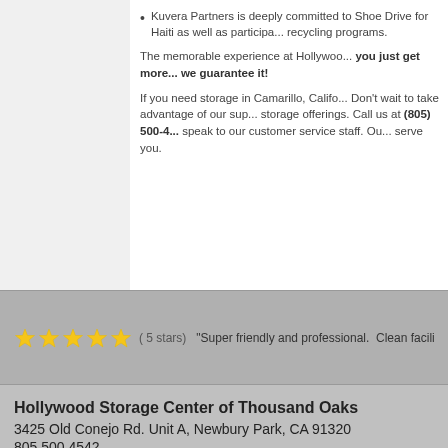Kuvera Partners is deeply committed to Shoe Drive for Haiti as well as participating in recycling programs.
The memorable experience at Hollywood... you just get more... we guarantee it!
If you need storage in Camarillo, Califo... Don't wait to take advantage of our sup... storage offerings. Call us at (805) 500-4... speak to our customer service staff. Ou... serve you.
( 5 stars) "Super friendly and professional.  Clean facility and o...
Hollywood Storage Center of Thousand Oaks
3425 Old Conejo Rd. Unit A, Newbury Park, CA 91320
805.500.4542
Directions | Hours | Storage Tips | Contact | Sitemap |